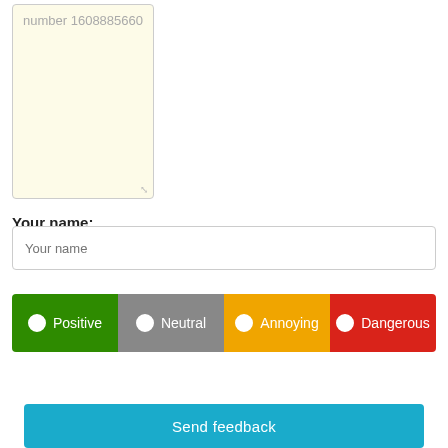number 1608885660
Your name:
Your name
Positive  Neutral  Annoying  Dangerous
Send feedback